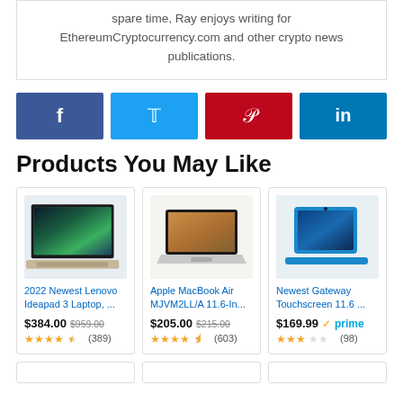spare time, Ray enjoys writing for EthereumCryptocurrency.com and other crypto news publications.
[Figure (infographic): Social share buttons: Facebook (blue), Twitter (light blue), Pinterest (red), LinkedIn (dark blue)]
Products You May Like
[Figure (photo): Lenovo Ideapad 3 laptop with aurora borealis wallpaper]
2022 Newest Lenovo Ideapad 3 Laptop, ...
$384.00 $959.00
★★★★☆ (389)
[Figure (photo): Apple MacBook Air MJVM2LL/A open laptop]
Apple MacBook Air MJVM2LL/A 11.6-In...
$205.00 $215.00
★★★★☆ (603)
[Figure (photo): Newest Gateway Touchscreen 11.6 blue laptop]
Newest Gateway Touchscreen 11.6 ...
$169.99 prime
★★★★☆ (98)